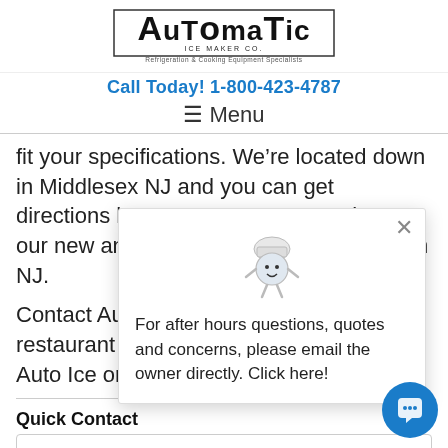[Figure (logo): Automatic Ice Maker Co. logo with text 'Refrigeration & Cooking Equipment Specialists']
Call Today!  1-800-423-4787
≡ Menu
fit your specifications. We're located down in Middlesex NJ and you can get directions here. Contact Auto Ice about our new and used restaurant equipment in NJ.
Contact Auto Ice ab... restaurant equipme... Auto Ice on Google...
For after hours questions, quotes and concerns, please email the owner directly. Click here!
Quick Contact
Your Name
Phone Number